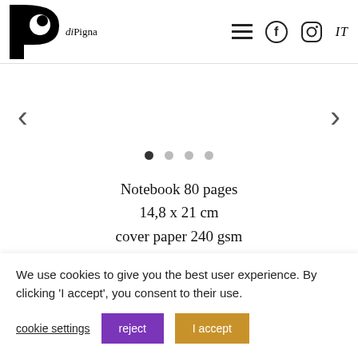P di Pigna — navigation header with hamburger menu, Facebook icon, Instagram icon, IT
[Figure (other): Carousel navigation: left arrow, 4 dots (first active), right arrow]
Notebook 80 pages
14,8 x 21 cm
cover paper 240 gsm
with embossed texture
inspired by ray of moon light
and with silver effect,
We use cookies to give you the best user experience. By clicking 'I accept', you consent to their use.
cookie settings    reject    I accept